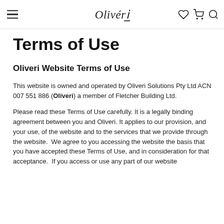Olivéri [navigation header with hamburger menu, logo, heart, cart, search icons]
Terms of Use
Oliveri Website Terms of Use
This website is owned and operated by Oliveri Solutions Pty Ltd ACN 007 551 886 (Oliveri) a member of Fletcher Building Ltd.
Please read these Terms of Use carefully. It is a legally binding agreement between you and Oliveri. It applies to our provision, and your use, of the website and to the services that we provide through the website.  We agree to you accessing the website the basis that you have accepted these Terms of Use, and in consideration for that acceptance.  If you access or use any part of our website